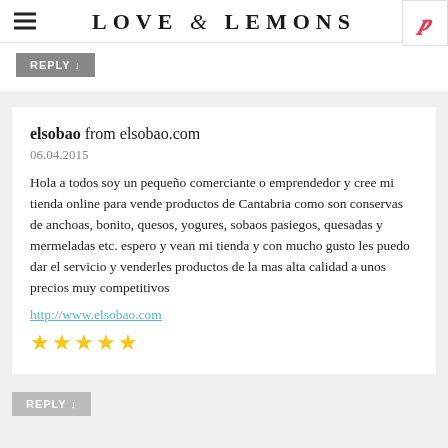LOVE & LEMONS
REPLY ↓
elsobao from elsobao.com
06.04.2015
Hola a todos soy un pequeño comerciante o emprendedor y cree mi tienda online para vende productos de Cantabria como son conservas de anchoas, bonito, quesos, yogures, sobaos pasiegos, quesadas y mermeladas etc. espero y vean mi tienda y con mucho gusto les puedo dar el servicio y venderles productos de la mas alta calidad a unos precios muy competitivos
http://www.elsobao.com
★★★★★
REPLY ↓